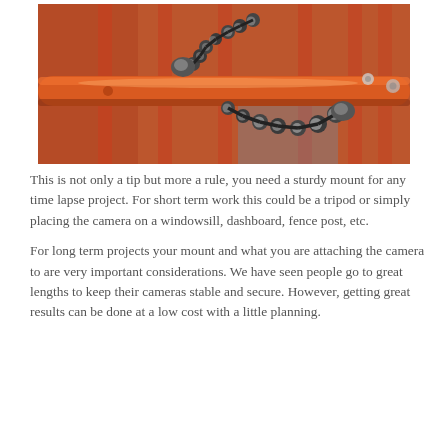[Figure (photo): Close-up photograph of a flexible Gorillapod tripod wrapped around an orange metal railing or pipe, with blurred red fence posts and brick wall in the background.]
This is not only a tip but more a rule, you need a sturdy mount for any time lapse project. For short term work this could be a tripod or simply placing the camera on a windowsill, dashboard, fence post, etc.
For long term projects your mount and what you are attaching the camera to are very important considerations. We have seen people go to great lengths to keep their cameras stable and secure. However, getting great results can be done at a low cost with a little planning.